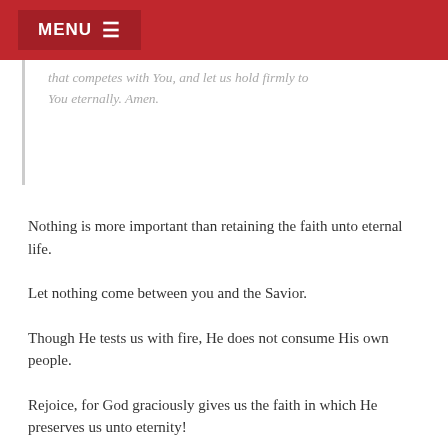MENU
that competes with You, and let us hold firmly to You eternally. Amen.
Nothing is more important than retaining the faith unto eternal life.
Let nothing come between you and the Savior.
Though He tests us with fire, He does not consume His own people.
Rejoice, for God graciously gives us the faith in which He preserves us unto eternity!
In a Lutheran layman's terms, the simple truth is that through faith…